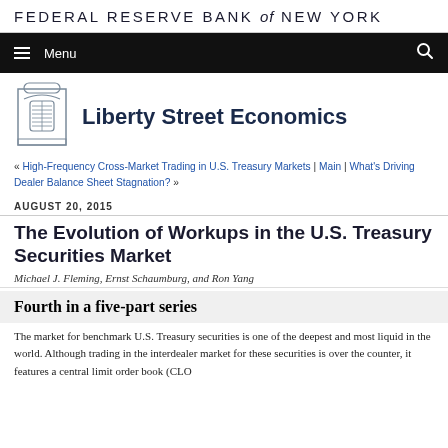FEDERAL RESERVE BANK of NEW YORK
Menu
Liberty Street Economics
« High-Frequency Cross-Market Trading in U.S. Treasury Markets | Main | What's Driving Dealer Balance Sheet Stagnation? »
AUGUST 20, 2015
The Evolution of Workups in the U.S. Treasury Securities Market
Michael J. Fleming, Ernst Schaumburg, and Ron Yang
Fourth in a five-part series
The market for benchmark U.S. Treasury securities is one of the deepest and most liquid in the world. Although trading in the interdealer market for these securities is over the counter, it features a central limit order book (CLO